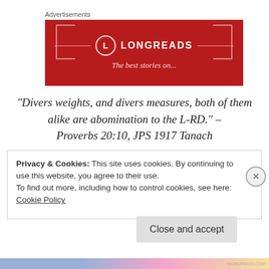Advertisements
[Figure (logo): Longreads advertisement banner — red background with Longreads logo (circle with L) and brand name in white text, decorative brackets on sides]
“Divers weights, and divers measures, both of them alike are abomination to the L-RD.” – Proverbs 20:10, JPS 1917 Tanach
Privacy & Cookies: This site uses cookies. By continuing to use this website, you agree to their use.
To find out more, including how to control cookies, see here:
Cookie Policy
Close and accept